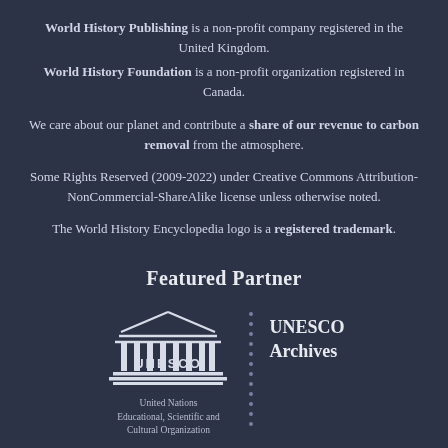World History Publishing is a non-profit company registered in the United Kingdom. World History Foundation is a non-profit organization registered in Canada.
We care about our planet and contribute a share of our revenue to carbon removal from the atmosphere.
Some Rights Reserved (2009-2022) under Creative Commons Attribution-NonCommercial-ShareAlike license unless otherwise noted.
The World History Encyclopedia logo is a registered trademark.
Featured Partner
[Figure (logo): UNESCO logo — stylized temple/building with columns and the text UNESCO beneath, representing the United Nations Educational, Scientific and Cultural Organization]
United Nations Educational, Scientific and Cultural Organization
UNESCO Archives